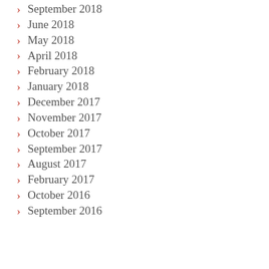September 2018
June 2018
May 2018
April 2018
February 2018
January 2018
December 2017
November 2017
October 2017
September 2017
August 2017
February 2017
October 2016
September 2016